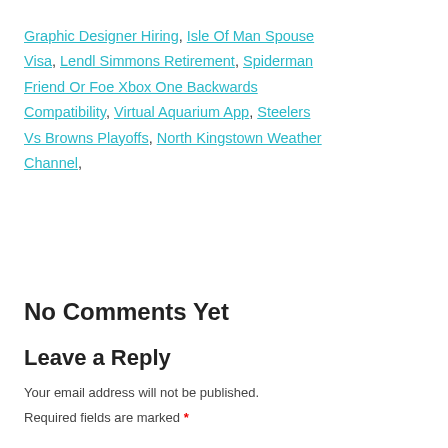Graphic Designer Hiring, Isle Of Man Spouse Visa, Lendl Simmons Retirement, Spiderman Friend Or Foe Xbox One Backwards Compatibility, Virtual Aquarium App, Steelers Vs Browns Playoffs, North Kingstown Weather Channel,
No Comments Yet
Leave a Reply
Your email address will not be published.
Required fields are marked *